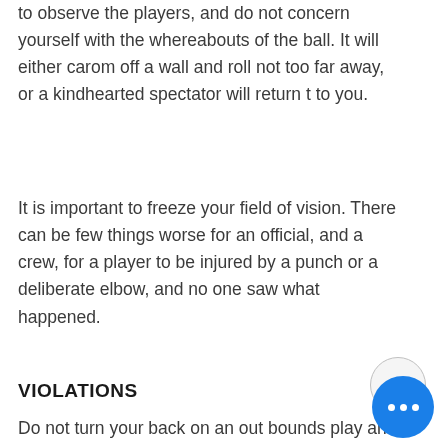to observe the players, and do not concern yourself with the whereabouts of the ball. It will either carom off a wall and roll not too far away, or a kindhearted spectator will return t to you.
It is important to freeze your field of vision. There can be few things worse for an official, and a crew, for a player to be injured by a punch or a deliberate elbow, and no one saw what happened.
VIOLATIONS
Do not turn your back on an out bounds play and when signaling violation. Keep your eyes on all of the